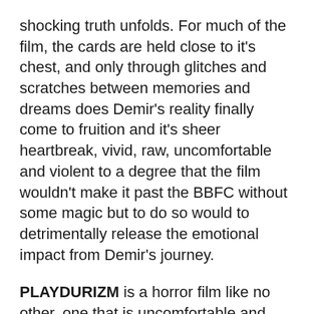shocking truth unfolds. For much of the film, the cards are held close to it's chest, and only through glitches and scratches between memories and dreams does Demir's reality finally come to fruition and it's sheer heartbreak, vivid, raw, uncomfortable and violent to a degree that the film wouldn't make it past the BBFC without some magic but to do so would to detrimentally release the emotional impact from Demir's journey.
PLAYDURIZM is a horror film like no other, one that is uncomfortable and grotesque yet beautiful and heart-breaking. A true tour de force of film making that holds no bounds and